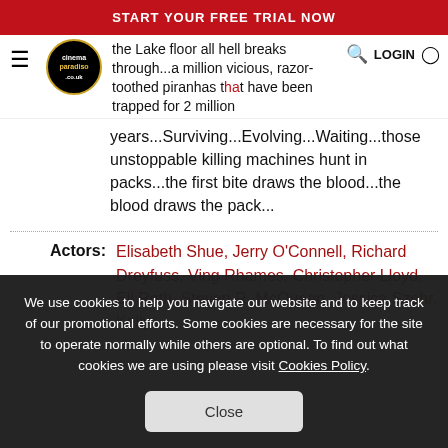START YOUR FREE TRIAL NOW
the Lake floor all hell breaks through...a million vicious, razor-toothed piranhas that have been trapped for 2 million years...Surviving...Evolving...Waiting...those unstoppable killing machines hunt in packs...the first bite draws the blood...the blood draws the pack...
Actors: Elisabeth Shue, Jerry O'Connell, Richard Dreyfuss, Ving Rhames, Christopher Lloyd, Eli Roth, Steven R. McQueen, Jessica Szohr, Kelly
We use cookies to help you navigate our website and to keep track of our promotional efforts. Some cookies are necessary for the site to operate normally while others are optional. To find out what cookies we are using please visit Cookies Policy.
Close